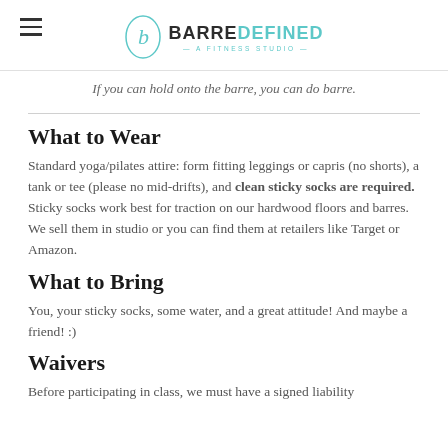BARRE DEFINED — A FITNESS STUDIO
If you can hold onto the barre, you can do barre.
What to Wear
Standard yoga/pilates attire: form fitting leggings or capris (no shorts), a tank or tee (please no mid-drifts), and clean sticky socks are required. Sticky socks work best for traction on our hardwood floors and barres. We sell them in studio or you can find them at retailers like Target or Amazon.
What to Bring
You, your sticky socks, some water, and a great attitude! And maybe a friend! :)
Waivers
Before participating in class, we must have a signed liability